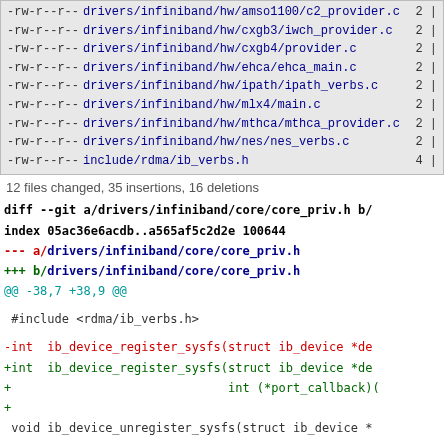| permissions | filepath | num |
| --- | --- | --- |
| -rw-r--r-- | drivers/infiniband/hw/amso1100/c2_provider.c | 2 | |
| -rw-r--r-- | drivers/infiniband/hw/cxgb3/iwch_provider.c | 2 | |
| -rw-r--r-- | drivers/infiniband/hw/cxgb4/provider.c | 2 | |
| -rw-r--r-- | drivers/infiniband/hw/ehca/ehca_main.c | 2 | |
| -rw-r--r-- | drivers/infiniband/hw/ipath/ipath_verbs.c | 2 | |
| -rw-r--r-- | drivers/infiniband/hw/mlx4/main.c | 2 | |
| -rw-r--r-- | drivers/infiniband/hw/mthca/mthca_provider.c | 2 | |
| -rw-r--r-- | drivers/infiniband/hw/nes/nes_verbs.c | 2 | |
| -rw-r--r-- | include/rdma/ib_verbs.h | 4 | |
12 files changed, 35 insertions, 16 deletions
diff --git a/drivers/infiniband/core/core_priv.h b/
index 05ac36e6acdb..a565af5c2d2e 100644
--- a/drivers/infiniband/core/core_priv.h
+++ b/drivers/infiniband/core/core_priv.h
@@ -38,7 +38,9 @@

  #include <rdma/ib_verbs.h>

-int  ib_device_register_sysfs(struct ib_device *de
+int  ib_device_register_sysfs(struct ib_device *de
+                              int (*port_callback)(
+
  void ib_device_unregister_sysfs(struct ib_device *

  int  ib_sysfs_setup(void);